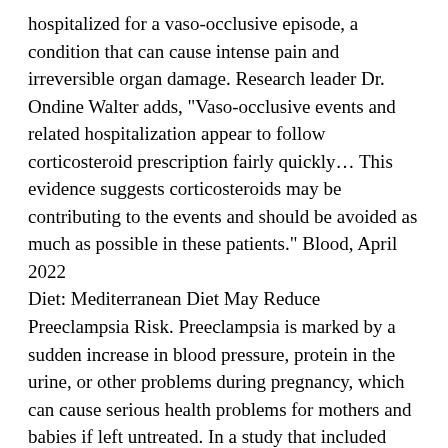hospitalized for a vaso-occlusive episode, a condition that can cause intense pain and irreversible organ damage. Research leader Dr. Ondine Walter adds, "Vaso-occlusive events and related hospitalization appear to follow corticosteroid prescription fairly quickly... This evidence suggests corticosteroids may be contributing to the events and should be avoided as much as possible in these patients." Blood, April 2022
Diet: Mediterranean Diet May Reduce Preeclampsia Risk. Preeclampsia is marked by a sudden increase in blood pressure, protein in the urine, or other problems during pregnancy, which can cause serious health problems for mothers and babies if left untreated. In a study that included over 8,500 expectant mothers, researchers identified an association between greater adherence to the Mediterranean diet and up to a 22% lower risk for preeclampsia. The findings are encouraging because very few preeclampsia treatments are considered safe or produce any meaningful benefits. Journal of the American Heart Association, April